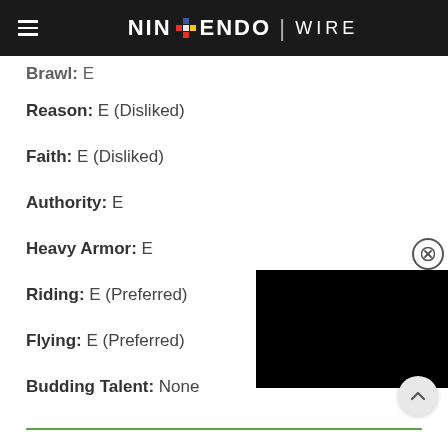Nintendo Wire
Brawl: E
Reason: E (Disliked)
Faith: E (Disliked)
Authority: E
Heavy Armor: E
Riding: E (Preferred)
Flying: E (Preferred)
Budding Talent: None
[Figure (screenshot): Black video player overlay in bottom-right corner with close button]